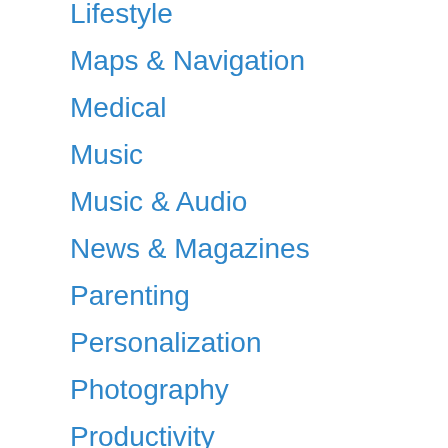Lifestyle
Maps & Navigation
Medical
Music
Music & Audio
News & Magazines
Parenting
Personalization
Photography
Productivity
Puzzle
Racing
Role Playing
Shopping